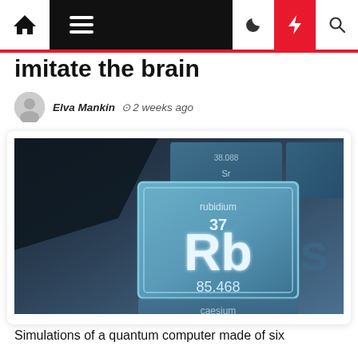Navigation bar with home, menu, dark mode, lightning, and search icons
imitate the brain
Elva Mankin  2 weeks ago
[Figure (photo): Close-up photo of the periodic table element Rubidium (Rb), element 37, atomic weight 85.468, with neighboring elements visible including cesium below]
Simulations of a quantum computer made of six